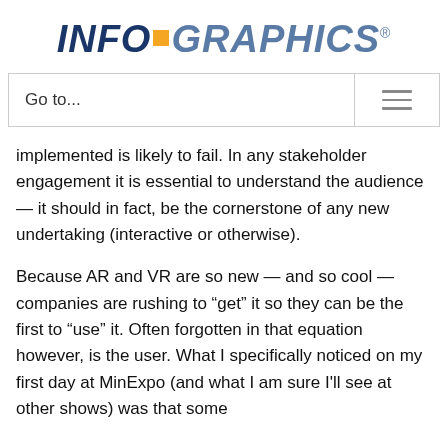[Figure (logo): INFO-GRAPHICS logo with orange square between INFO and GRAPHICS, dark blue and steel blue lettering, registered trademark symbol]
[Figure (screenshot): Navigation bar with 'Go to...' text on left and hamburger menu icon on right, bordered box]
implemented is likely to fail. In any stakeholder engagement it is essential to understand the audience — it should in fact, be the cornerstone of any new undertaking (interactive or otherwise).
Because AR and VR are so new — and so cool — companies are rushing to “get” it so they can be the first to “use” it. Often forgotten in that equation however, is the user. What I specifically noticed on my first day at MinExpo (and what I am sure I'll see at other shows) was that some